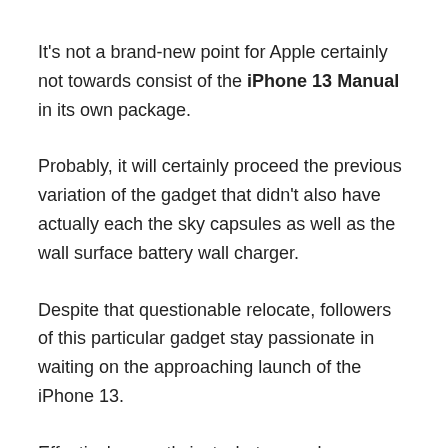It's not a brand-new point for Apple certainly not towards consist of the iPhone 13 Manual in its own package.
Probably, it will certainly proceed the previous variation of the gadget that didn't also have actually each the sky capsules as well as the wall surface battery wall charger.
Despite that questionable relocate, followers of this particular gadget stay passionate in waiting on the approaching launch of the iPhone 13.
Effectively, exactly just what around individuals that require the user guide?